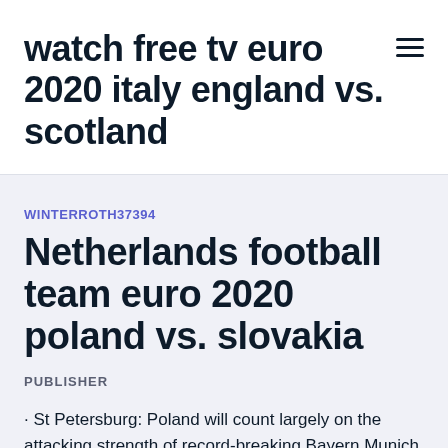watch free tv euro 2020 italy england vs. scotland
WINTERROTH37394
Netherlands football team euro 2020 poland vs. slovakia
PUBLISHER
· St Petersburg: Poland will count largely on the attacking strength of record-breaking Bayern Munich